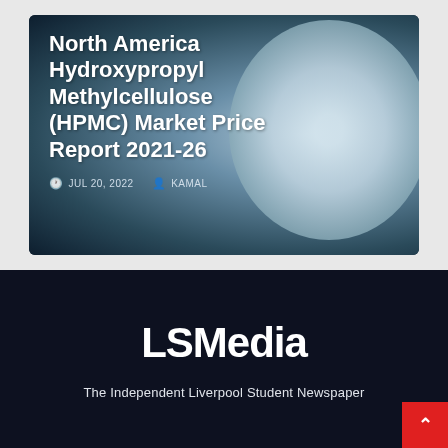[Figure (photo): Article card with background photo of white powdery chemical substance (HPMC). Card shows title text overlaid on a dark blue/teal background with the white powder visible on the right side.]
North America Hydroxypropyl Methylcellulose (HPMC) Market Price Report 2021-26
JUL 20, 2022  KAMAL
LSMedia
The Independent Liverpool Student Newspaper